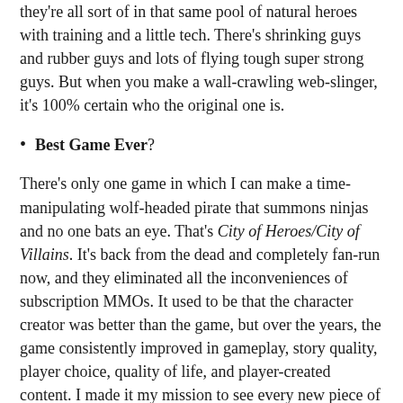they're all sort of in that same pool of natural heroes with training and a little tech. There's shrinking guys and rubber guys and lots of flying tough super strong guys. But when you make a wall-crawling web-slinger, it's 100% certain who the original one is.
Best Game Ever?
There's only one game in which I can make a time-manipulating wolf-headed pirate that summons ninjas and no one bats an eye. That's City of Heroes/City of Villains. It's back from the dead and completely fan-run now, and they eliminated all the inconveniences of subscription MMOs. It used to be that the character creator was better than the game, but over the years, the game consistently improved in gameplay, story quality, player choice, quality of life, and player-created content. I made it my mission to see every new piece of content when I started replaying. Out of 1581 available badge achievements, I have 1580 and the last one is associated with a known bug.